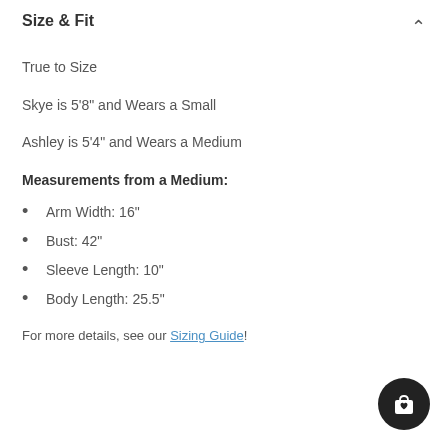Size & Fit
True to Size
Skye is 5'8" and Wears a Small
Ashley is 5'4" and Wears a Medium
Measurements from a Medium:
Arm Width: 16"
Bust: 42"
Sleeve Length: 10"
Body Length: 25.5"
For more details, see our Sizing Guide!